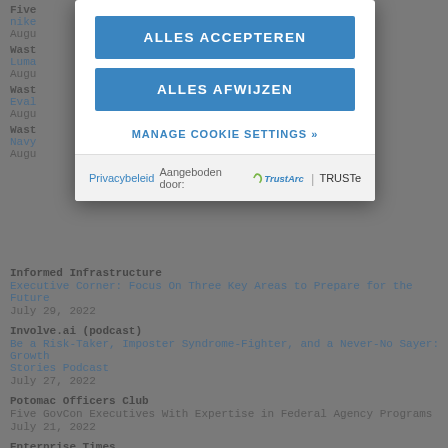Five ... nike ... Augu...
Wash ... Luma... Augu...
Wash ... Eval... Augu...
Wash ... Navy... Augu...
[Figure (screenshot): Cookie consent modal dialog with two blue buttons: 'ALLES ACCEPTEREN' and 'ALLES AFWIJZEN', a 'MANAGE COOKIE SETTINGS »' link, and a footer with 'Privacybeleid Aangeboden door: TrustArc | TRUSTe']
Informed Infrastructure
Executive Corner: Focus On Three Key Areas to Prepare for the Future
July 29, 2022
Involve.ai (podcast)
Be a Risk-Taker, Imposter Syndrome-Fighter, and a Never-No Sayer: Growth Stories Podcast
July 27, 2022
Potomac Officers Club
Five GovCon Executives With Expertise in Federal Agency Programs
July 21, 2022
Enterprise Times
Deltek acquires MES technology part TIP Technologies